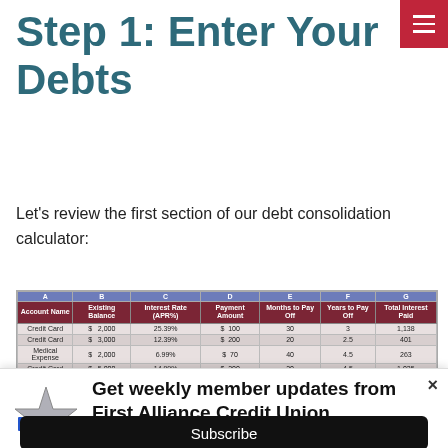Step 1: Enter Your Debts
Let's review the first section of our debt consolidation calculator:
| A Account Name | B Existing Balance | C Interest Rate (APR%) | D Payment Amount | E Months to Pay Off | F Years to Pay Off | G Total Interest Paid |
| --- | --- | --- | --- | --- | --- | --- |
| Credit Card | $ 2,000 | 25.39% | $ 100 | 30 | 3 | $ 1,138 |
| Credit Card | $ 3,000 | 12.39% | $ 200 | 20 | 2.5 | 401 |
| Medical Expense | $ 2,000 | 6.99% | $ 70 | 40 | 4.5 | 263 |
| Credit Card | $ 5,000 | 14.99% | $ 300 | 30 | 4.5 | 1,035 |
Get weekly member updates from First Alliance Credit Union
Subscribe